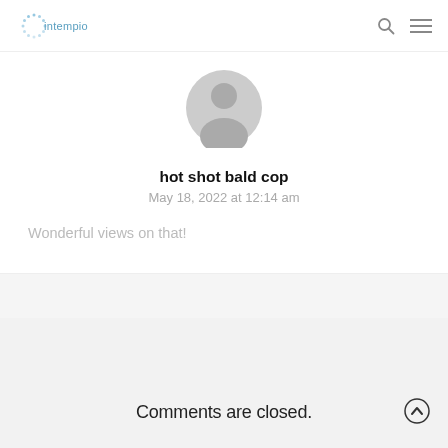intempio
[Figure (illustration): Gray default user avatar circle with person silhouette]
hot shot bald cop
May 18, 2022 at 12:14 am
Wonderful views on that!
Comments are closed.